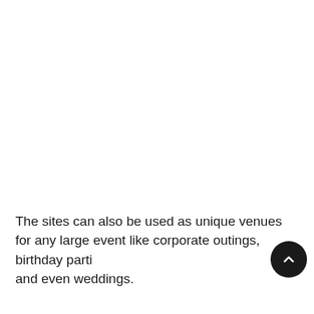The sites can also be used as unique venues for any large event like corporate outings, birthday parties and even weddings.